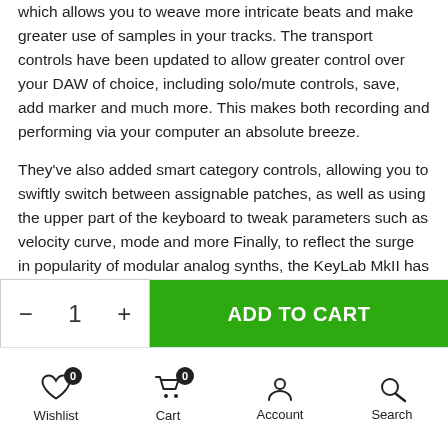which allows you to weave more intricate beats and make greater use of samples in your tracks. The transport controls have been updated to allow greater control over your DAW of choice, including solo/mute controls, save, add marker and much more. This makes both recording and performing via your computer an absolute breeze.
They've also added smart category controls, allowing you to swiftly switch between assignable patches, as well as using the upper part of the keyboard to tweak parameters such as velocity curve, mode and more Finally, to reflect the surge in popularity of modular analog synths, the KeyLab MkII has been loaded with
- 1 +
ADD TO CART
Wishlist
Cart
Account
Search